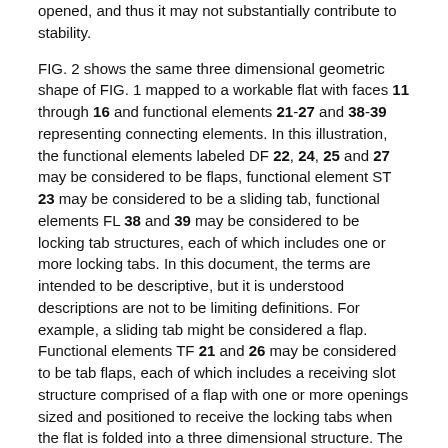opened, and thus it may not substantially contribute to stability.
FIG. 2 shows the same three dimensional geometric shape of FIG. 1 mapped to a workable flat with faces 11 through 16 and functional elements 21-27 and 38-39 representing connecting elements. In this illustration, the functional elements labeled DF 22, 24, 25 and 27 may be considered to be flaps, functional element ST 23 may be considered to be a sliding tab, functional elements FL 38 and 39 may be considered to be locking tab structures, each of which includes one or more locking tabs. In this document, the terms are intended to be descriptive, but it is understood descriptions are not to be limiting definitions. For example, a sliding tab might be considered a flap. Functional elements TF 21 and 26 may be considered to be tab flaps, each of which includes a receiving slot structure comprised of a flap with one or more openings sized and positioned to receive the locking tabs when the flat is folded into a three dimensional structure. The dotted lines in FIG. 2 represent fold edges to which the package generation system may apply a crease or score in order to create an angle when the substrate is folded. The solid